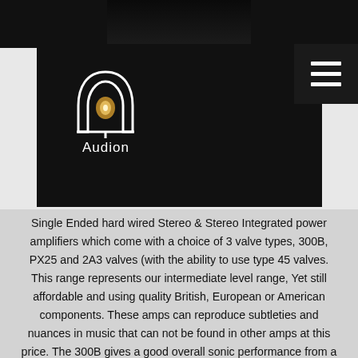[Figure (photo): Dark background image of audio amplifier equipment at top of page]
[Figure (logo): Audion brand logo — arch/tube shape in gold/white with glowing filament, white text 'Audion' below, on black navigation bar]
Single Ended hard wired Stereo & Stereo Integrated power amplifiers which come with a choice of 3 valve types, 300B, PX25 and 2A3 valves (with the ability to use type 45 valves. This range represents our intermediate level range, Yet still affordable and using quality British, European or American components. These amps can reproduce subtleties and nuances in music that can not be found in other amps at this price. The 300B gives a good overall sonic performance from a well known valve, the PX25 delivers slightly more power and presence as well as deeper bass and higher tops, the mid-range is incredibly sweet and controlled. The 2A3 delivers a little less